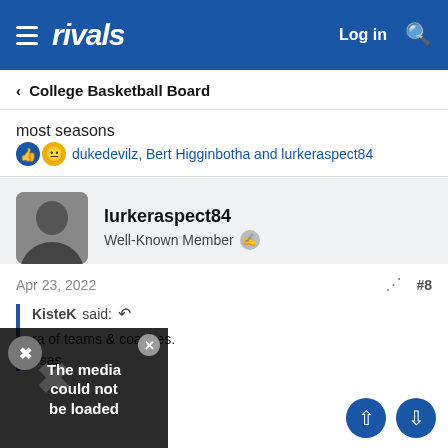rivals — Log in
< College Basketball Board
most seasons
👍😕 dukedevilz, Bert Higginbotha and lurkeraspect84
lurkeraspect84
Well-Known Member
Apr 23, 2022  #8
KisteK said: ↩
...ra of teams & coaches.
...nsas
[Figure (other): Media could not be loaded overlay on video thumbnail with X badge and close button]